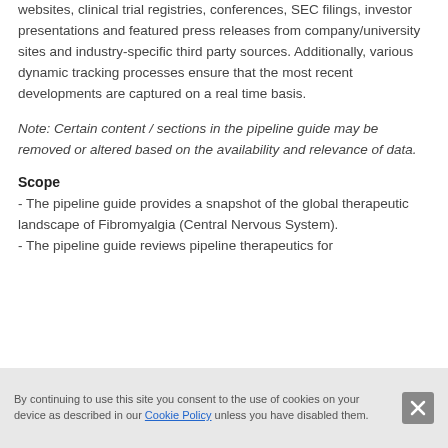websites, clinical trial registries, conferences, SEC filings, investor presentations and featured press releases from company/university sites and industry-specific third party sources. Additionally, various dynamic tracking processes ensure that the most recent developments are captured on a real time basis.
Note: Certain content / sections in the pipeline guide may be removed or altered based on the availability and relevance of data.
Scope
- The pipeline guide provides a snapshot of the global therapeutic landscape of Fibromyalgia (Central Nervous System).
- The pipeline guide reviews pipeline therapeutics for
By continuing to use this site you consent to the use of cookies on your device as described in our Cookie Policy unless you have disabled them.